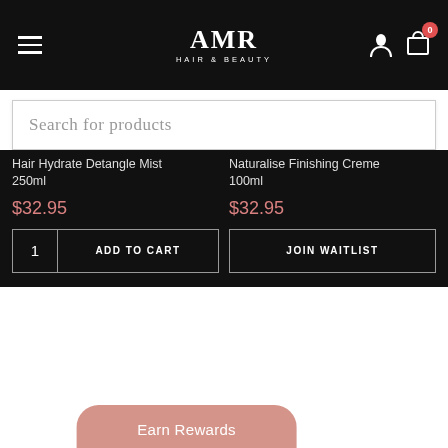AMR Hair & Beauty — navigation header with hamburger menu, logo, user icon, and cart icon with badge 0
Search for products
Hair Hydrate Detangle Mist 250ml
$32.95
1   ADD TO CART
Naturalise Finishing Creme 100ml
$32.95
JOIN WAITLIST
Earn Rewards